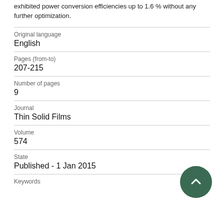exhibited power conversion efficiencies up to 1.6 % without any further optimization.
| Original language | English |
| Pages (from-to) | 207-215 |
| Number of pages | 9 |
| Journal | Thin Solid Films |
| Volume | 574 |
| State | Published - 1 Jan 2015 |
Keywords